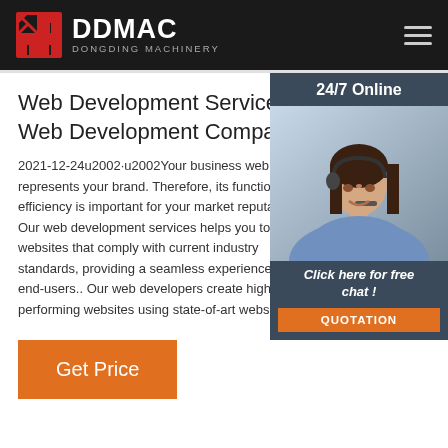DDMAC DONGDING MACHINERY
Web Development Services Web Development Company
[Figure (photo): Customer service representative (woman with headset) with 24/7 Online label and Click here for free chat / QUOTATION button]
2021-12-24u2002·u2002Your business web represents your brand. Therefore, its functio efficiency is important for your market reput Our web development services helps you to websites that comply with current industry standards, providing a seamless experience end-users.. Our web developers create high performing websites using state-of-art webs
Get Price